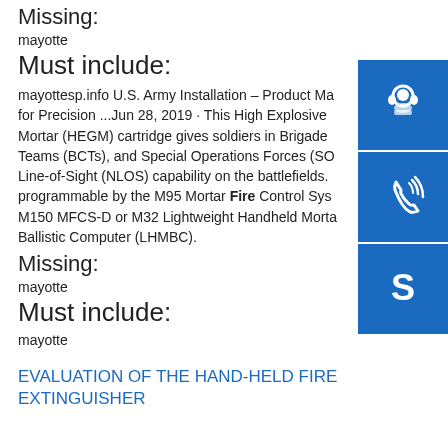Missing:
mayotte
Must include:
mayottesp.info U.S. Army Installation – Product Ma... for Precision ...Jun 28, 2019 · This High Explosive Mortar (HEGM) cartridge gives soldiers in Brigade Teams (BCTs), and Special Operations Forces (SO... Line-of-Sight (NLOS) capability on the battlefields. programmable by the M95 Mortar Fire Control Sys... M150 MFCS-D or M32 Lightweight Handheld Morta... Ballistic Computer (LHMBC).
[Figure (illustration): Blue icon box with headset/customer support icon]
[Figure (illustration): Blue icon box with phone/call icon]
[Figure (illustration): Blue icon box with Skype logo icon]
Missing:
mayotte
Must include:
mayotte
EVALUATION OF THE HAND-HELD FIRE EXTINGUISHER